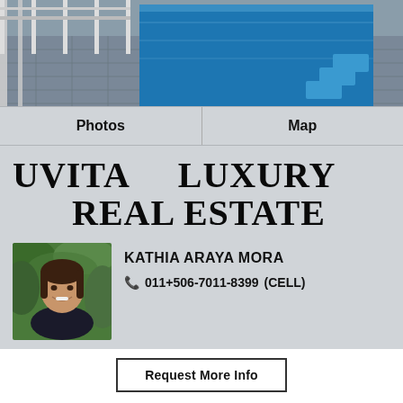[Figure (photo): Rooftop swimming pool with blue water, tiled deck, and metal railings, viewed from above at an angle]
Photos | Map
UVITA LUXURY REAL ESTATE
[Figure (photo): Headshot of female real estate agent Kathia Araya Mora, smiling, with green foliage background]
KATHIA ARAYA MORA
011+506-7011-8399 (CELL)
Request More Info